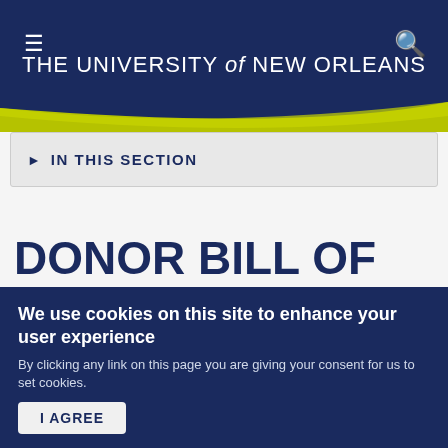THE UNIVERSITY of NEW ORLEANS
IN THIS SECTION
DONOR BILL OF RIGHTS
Philanthropy is based on voluntary action for the common good. It is a tradition of giving and sharing that
We use cookies on this site to enhance your user experience By clicking any link on this page you are giving your consent for us to set cookies. I AGREE